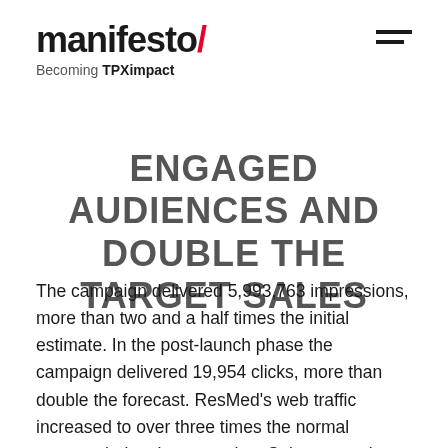manifesto/ Becoming TPXimpact
ENGAGED AUDIENCES AND DOUBLE THE TARGET SALES
The campaign delivered 5,993,763 impressions, more than two and a half times the initial estimate. In the post-launch phase the campaign delivered 19,954 clicks, more than double the forecast. ResMed's web traffic increased to over three times the normal amount during the campaign. Sales were also said to be performing at twice the expected rate, with a month's worth